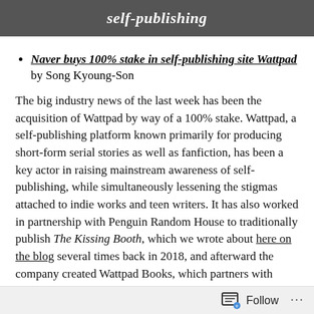self-publishing
Naver buys 100% stake in self-publishing site Wattpad
by Song Kyoung-Son
The big industry news of the last week has been the acquisition of Wattpad by way of a 100% stake. Wattpad, a self-publishing platform known primarily for producing short-form serial stories as well as fanfiction, has been a key actor in raising mainstream awareness of self-publishing, while simultaneously lessening the stigmas attached to indie works and teen writers. It has also worked in partnership with Penguin Random House to traditionally publish The Kissing Booth, which we wrote about here on the blog several times back in 2018, and afterward the company created Wattpad Books, which partners with Macmillan to publish other stories in book
Follow